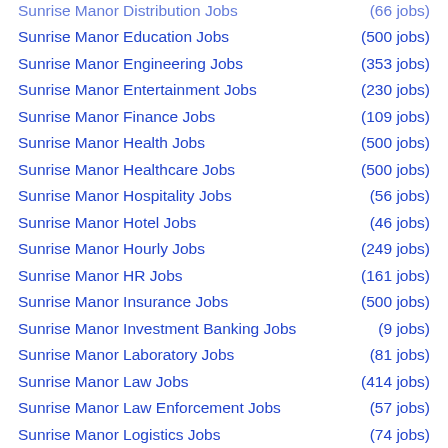Sunrise Manor Distribution Jobs (66 jobs)
Sunrise Manor Education Jobs (500 jobs)
Sunrise Manor Engineering Jobs (353 jobs)
Sunrise Manor Entertainment Jobs (230 jobs)
Sunrise Manor Finance Jobs (109 jobs)
Sunrise Manor Health Jobs (500 jobs)
Sunrise Manor Healthcare Jobs (500 jobs)
Sunrise Manor Hospitality Jobs (56 jobs)
Sunrise Manor Hotel Jobs (46 jobs)
Sunrise Manor Hourly Jobs (249 jobs)
Sunrise Manor HR Jobs (161 jobs)
Sunrise Manor Insurance Jobs (500 jobs)
Sunrise Manor Investment Banking Jobs (9 jobs)
Sunrise Manor Laboratory Jobs (81 jobs)
Sunrise Manor Law Jobs (414 jobs)
Sunrise Manor Law Enforcement Jobs (57 jobs)
Sunrise Manor Logistics Jobs (74 jobs)
Sunrise Manor Maintenance Jobs (317 jobs)
Sunrise Manor Management Jobs (500 jobs)
Sunrise Manor Manufacturing Jobs (71 jobs)